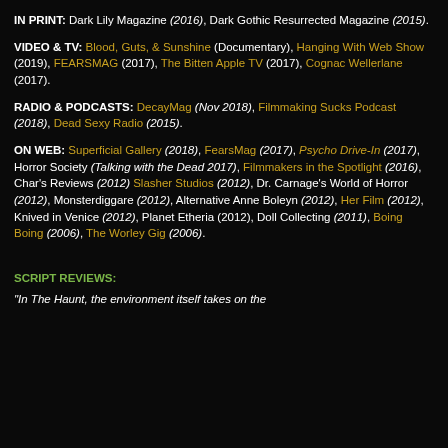IN PRINT: Dark Lily Magazine (2016), Dark Gothic Resurrected Magazine (2015).
VIDEO & TV: Blood, Guts, & Sunshine (Documentary), Hanging With Web Show (2019), FEARSMAG (2017), The Bitten Apple TV (2017), Cognac Wellerlane (2017).
RADIO & PODCASTS: DecayMag (Nov 2018), Filmmaking Sucks Podcast (2018), Dead Sexy Radio (2015).
ON WEB: Superficial Gallery (2018), FearsMag (2017), Psycho Drive-In (2017), Horror Society (Talking with the Dead 2017), Filmmakers in the Spotlight (2016), Char's Reviews (2012) Slasher Studios (2012), Dr. Carnage's World of Horror (2012), Monsterdiggare (2012), Alternative Anne Boleyn (2012), Her Film (2012), Knived in Venice (2012), Planet Etheria (2012), Doll Collecting (2011), Boing Boing (2006), The Worley Gig (2006).
SCRIPT REVIEWS:
"In The Haunt, the environment itself takes on the